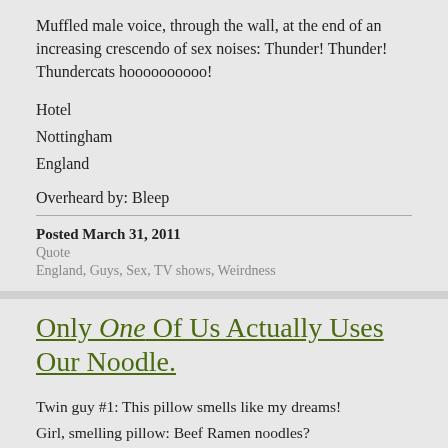Muffled male voice, through the wall, at the end of an increasing crescendo of sex noises: Thunder! Thunder! Thundercats hoooooooooo!
Hotel
Nottingham
England
Overheard by: Bleep
Posted March 31, 2011
Quote
England, Guys, Sex, TV shows, Weirdness
Only One Of Us Actually Uses Our Noodle.
Twin guy #1: This pillow smells like my dreams!
Girl, smelling pillow: Beef Ramen noodles?
Twin guy #1: I am awesome at dreaming!